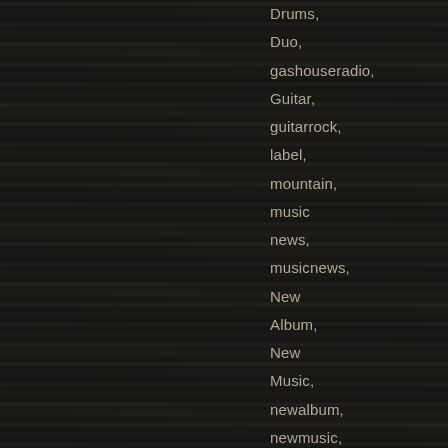Drums,
Duo,
gashouseradio,
Guitar,
guitarrock,
label,
mountain,
music
news,
musicnews,
New
Album,
New
Music,
newalbum,
newmusic,
siriusxm,
siriusxmoctane,
The